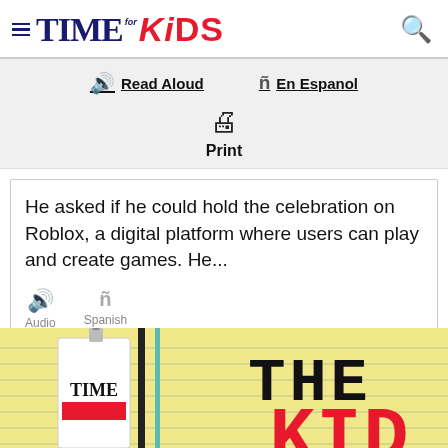TIME for KiDS
Read Aloud
En Espanol
Print
He asked if he could hold the celebration on Roblox, a digital platform where users can play and create games. He...
Audio
Spanish
[Figure (illustration): Bottom portion of a book cover showing 'THE KID' text on a yellow lined notebook background with a TIME magazine badge and spiral binding on the left side. The word 'THE' appears in large black serif typewriter font, and 'KID' appears in large red serif typewriter font.]